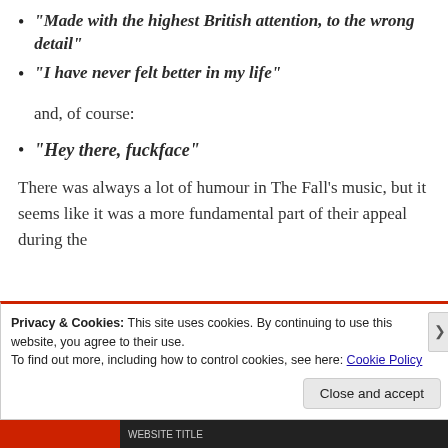“Made with the highest British attention, to the wrong detail”
“I have never felt better in my life”
and, of course:
“Hey there, fuckface”
There was always a lot of humour in The Fall’s music, but it seems like it was a more fundamental part of their appeal during the
Privacy & Cookies: This site uses cookies. By continuing to use this website, you agree to their use.
To find out more, including how to control cookies, see here: Cookie Policy